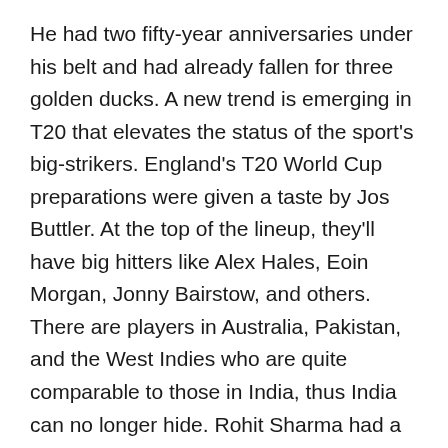He had two fifty-year anniversaries under his belt and had already fallen for three golden ducks. A new trend is emerging in T20 that elevates the status of the sport's big-strikers. England's T20 World Cup preparations were given a taste by Jos Buttler. At the top of the lineup, they'll have big hitters like Alex Hales, Eoin Morgan, Jonny Bairstow, and others. There are players in Australia, Pakistan, and the West Indies who are quite comparable to those in India, thus India can no longer hide. Rohit Sharma had a poor IPL 2022, but now that he's captain, he'll start at the top of the batting order for Mumbai. To score the maximum runs, Kohli must bat first or third, depending on the situation.